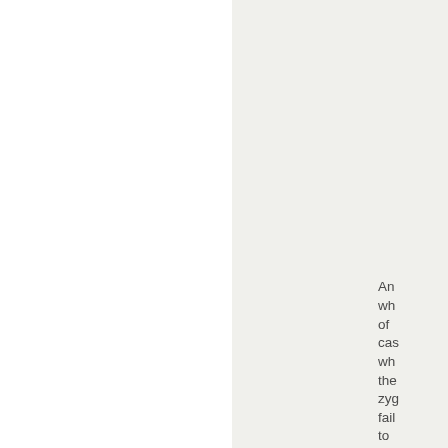An wh of cas wh the zyg fail to